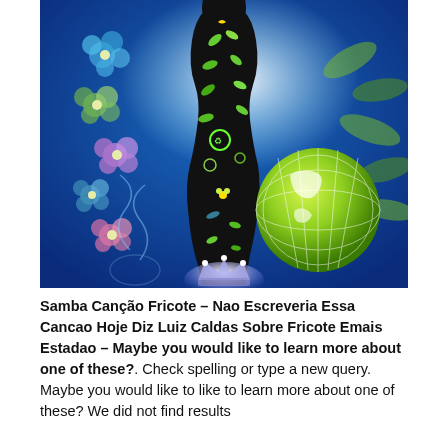[Figure (illustration): Colorful illustration on a blue background featuring a black feminine silhouette decorated with green ecology icons, leaves, recycling symbols, and environmental motifs. To the left is a column of blue and purple flowers with spiral decorations. To the right is a glowing green globe/earth. At the bottom is a glowing crown.]
Samba Canção Fricote – Nao Escreveria Essa Cancao Hoje Diz Luiz Caldas Sobre Fricote Emais Estadao – Maybe you would like to learn more about one of these?. Check spelling or type a new query. Maybe you would like to learn more about one of these? We did not find results